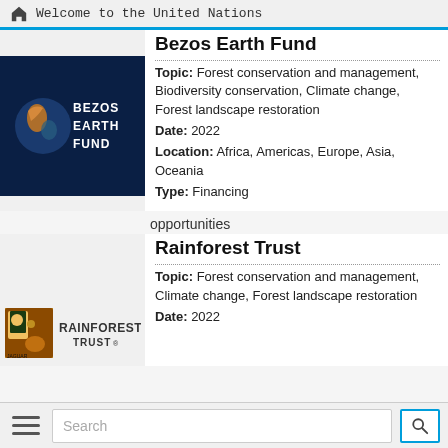Welcome to the United Nations
Bezos Earth Fund
Topic: Forest conservation and management, Biodiversity conservation, Climate change, Forest landscape restoration
Date: 2022
Location: Africa, Americas, Europe, Asia, Oceania
Type: Financing
[Figure (logo): Bezos Earth Fund logo — dark navy background with globe graphic and text BEZOS EARTH FUND]
opportunities
Rainforest Trust
Topic: Forest conservation and management, Climate change, Forest landscape restoration
Date: 2022
[Figure (logo): Rainforest Trust logo — jaguar image with RAINFOREST TRUST text]
Search